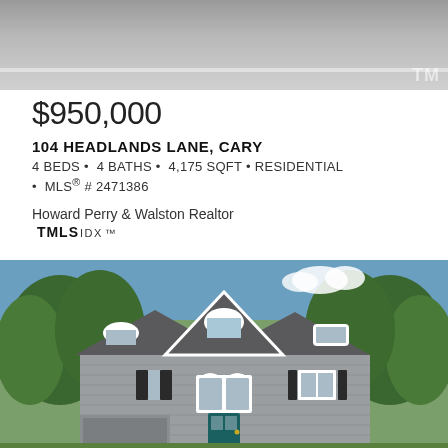[Figure (photo): Top partial photo of road/driveway surface with 'TM' watermark visible at bottom right]
$950,000
104 HEADLANDS LANE, CARY
4 BEDS • 4 BATHS • 4,175 SQFT • RESIDENTIAL • MLS® # 2471386
Howard Perry & Walston Realtor
TMLS IDX ™
[Figure (photo): Exterior photo of a two-story gray colonial-style house with white trim, arched windows, dark shutters, and a teal front door, surrounded by trees]